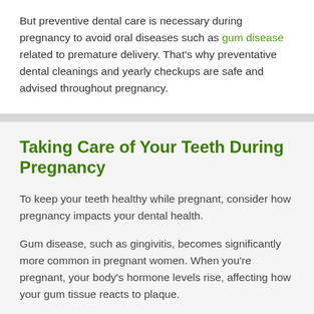But preventive dental care is necessary during pregnancy to avoid oral diseases such as gum disease related to premature delivery. That's why preventative dental cleanings and yearly checkups are safe and advised throughout pregnancy.
Taking Care of Your Teeth During Pregnancy
To keep your teeth healthy while pregnant, consider how pregnancy impacts your dental health.
Gum disease, such as gingivitis, becomes significantly more common in pregnant women. When you're pregnant, your body's hormone levels rise, affecting how your gum tissue reacts to plaque.